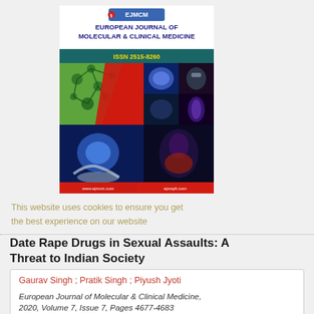[Figure (illustration): Cover of European Journal of Molecular & Clinical Medicine showing EJMCM logo, journal title in bold, ISSN 2515-8260, and a collage of medical/science images on a red background including brain scans, molecular structures, and human anatomy. Website URLs shown at bottom: www.ejmcm.com and ejmsph.com.]
This website uses cookies to ensure you get the best experience on our website
Date Rape Drugs in Sexual Assaults: A Threat to Indian Society
Gaurav Singh ; Pratik Singh ; Piyush Jyoti
European Journal of Molecular & Clinical Medicine, 2020, Volume 7, Issue 7, Pages 4677-4683